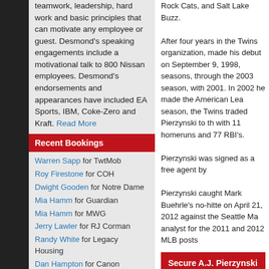teamwork, leadership, hard work and basic principles that can motivate any employee or guest. Desmond's speaking engagements include a motivational talk to 800 Nissan employees. Desmond's endorsements and appearances have included EA Sports, IBM, Coke-Zero and Kraft. Read More
Recent Bookings
Warren Sapp for TwtMob
Roy Firestone for COH
Dwight Gooden for Notre Dame
Mia Hamm for Guardian
Mia Hamm for MWG
Jerry Lawler for RJ Corman
Randy White for Legacy Housing
Dan Hampton for Canon
Antonio Freeman for MillerCoors
Bret Saberhagen for CNCF
Hank Haney for COH
Alan Page for RiverBank
Rock Cats, and Salt Lake Buzz. After four years in the Twins organization, made his debut on September 9, 1998, seasons, through the 2003 season, with 2001. In 2002 he made the American League season, the Twins traded Pierzynski to the with 11 homeruns and 77 RBI's. Pierzynski was signed as a free agent by Pierzynski caught Mark Buehrle's no-hitter on April 21, 2012 against the Seattle Mariners. analyst for the 2011 and 2012 MLB postseason.
Secure A.J. Pierzynski for Your
Other Baseball Talent Available
Bruce Bochy
Athlete Marketing
Bio · More Info
Al Kaline
Banquet Speakers
Bio · More Info